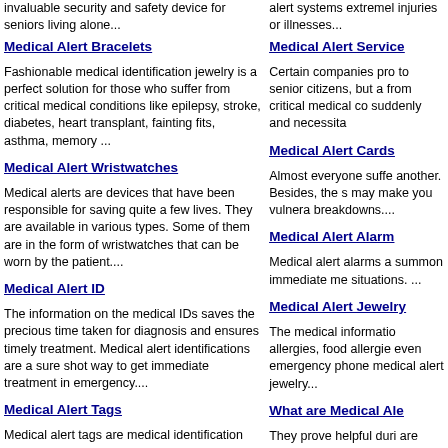invaluable security and safety device for seniors living alone...
alert systems extremely injuries or illnesses...
Medical Alert Bracelets
Fashionable medical identification jewelry is a perfect solution for those who suffer from critical medical conditions like epilepsy, stroke, diabetes, heart transplant, fainting fits, asthma, memory ...
Medical Alert Service
Certain companies pro to senior citizens, but a from critical medical co suddenly and necessita
Medical Alert Wristwatches
Medical alerts are devices that have been responsible for saving quite a few lives. They are available in various types. Some of them are in the form of wristwatches that can be worn by the patient....
Medical Alert Cards
Almost everyone suffe another. Besides, the s may make you vulnera breakdowns....
Medical Alert ID
The information on the medical IDs saves the precious time taken for diagnosis and ensures timely treatment. Medical alert identifications are a sure shot way to get immediate treatment in emergency....
Medical Alert Alarm
Medical alert alarms a summon immediate me situations. ...
Medical Alert Tags
Medical alert tags are medical identification tags that contain important medical information of the person wearing it. ...
Medical Alert Jewelry
The medical informatio allergies, food allergie even emergency phone medical alert jewelry...
How to choose a medical alert system?
A consumer best chooses a medical alert system depending on his particular situation, budget and needs.
What are Medical Ale
They prove helpful duri are electronic wireless